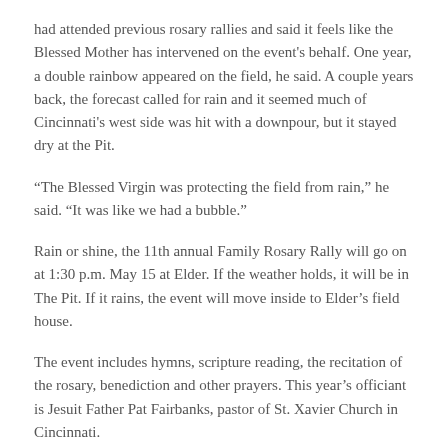had attended previous rosary rallies and said it feels like the Blessed Mother has intervened on the event's behalf. One year, a double rainbow appeared on the field, he said. A couple years back, the forecast called for rain and it seemed much of Cincinnati's west side was hit with a downpour, but it stayed dry at the Pit.
“The Blessed Virgin was protecting the field from rain,” he said. “It was like we had a bubble.”
Rain or shine, the 11th annual Family Rosary Rally will go on at 1:30 p.m. May 15 at Elder. If the weather holds, it will be in The Pit. If it rains, the event will move inside to Elder’s field house.
The event includes hymns, scripture reading, the recitation of the rosary, benediction and other prayers. This year’s officiant is Jesuit Father Pat Fairbanks, pastor of St. Xavier Church in Cincinnati.